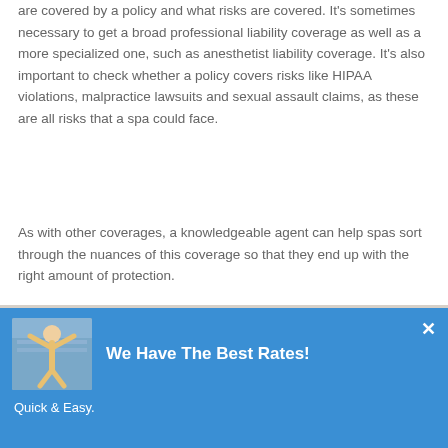are covered by a policy and what risks are covered. It's sometimes necessary to get a broad professional liability coverage as well as a more specialized one, such as anesthetist liability coverage. It's also important to check whether a policy covers risks like HIPAA violations, malpractice lawsuits and sexual assault claims, as these are all risks that a spa could face.
As with other coverages, a knowledgeable agent can help spas sort through the nuances of this coverage so that they end up with the right amount of protection.
[Figure (photo): Photo of a spa treatment scene — a person receiving a hand/nail treatment, with a therapist working on their hand over a table with products visible.]
[Figure (infographic): Blue promotional banner overlay with a thumbnail of a person with arms raised. Text reads 'We Have The Best Rates!' and 'Quick & Easy.' with a close (×) button.]